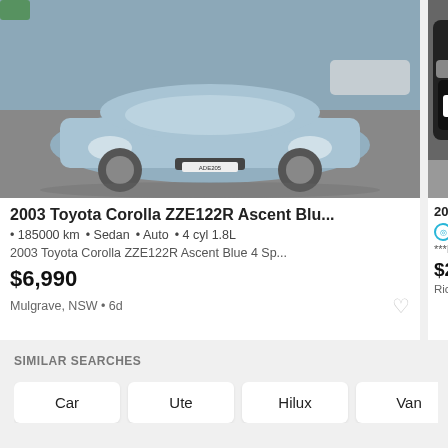[Figure (photo): Blue 2003 Toyota Corolla sedan front view in a parking area]
2003 Toyota Corolla ZZE122R Ascent Blu...
• 185000 km  • Sedan  • Auto  • 4 cyl 1.8L
2003 Toyota Corolla ZZE122R Ascent Blue 4 Sp...
$6,990
Mulgrave, NSW • 6d
[Figure (photo): Partial view of a 2020 Toyota with plate ETV 48H]
2020 Toyota
21033 km
***If it's advert
$28,980
Richmond, NSW
SIMILAR SEARCHES
Car
Ute
Hilux
Van
Toyota Hilux